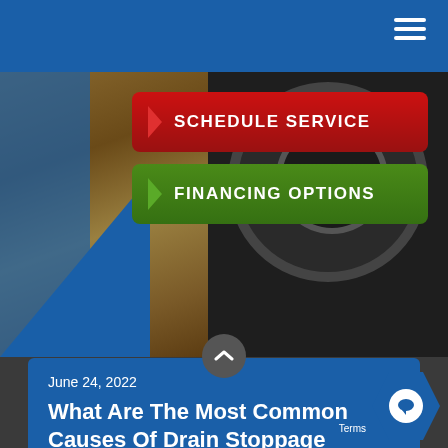[Figure (screenshot): Website screenshot showing navigation bar with hamburger menu icon, hero area with earthy drain background image, a red SCHEDULE SERVICE button and green FINANCING OPTIONS button with arrow indicators, a blue article card section with date and title, and a chat widget in the bottom right corner.]
SCHEDULE SERVICE
FINANCING OPTIONS
June 24, 2022
What Are The Most Common Causes Of Drain Stoppage
Terms